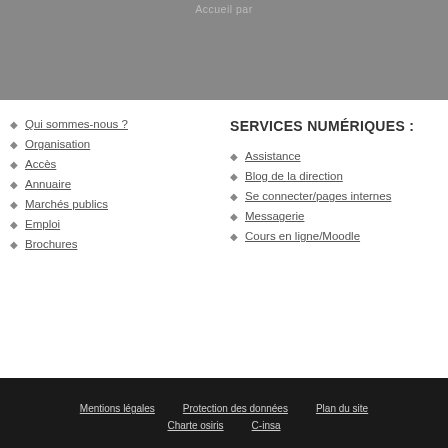Accueil par
Qui sommes-nous ?
Organisation
Accès
Annuaire
Marchés publics
Emploi
Brochures
SERVICES NUMÉRIQUES :
Assistance
Blog de la direction
Se connecter/pages internes
Messagerie
Cours en ligne/Moodle
Mentions légales  Protection des données  Plan du site  Charte osiris  C-insa